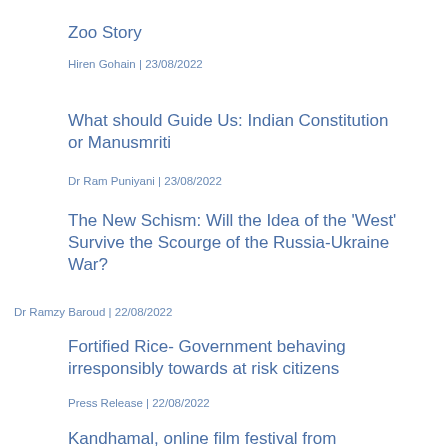Zoo Story
Hiren Gohain | 23/08/2022
What should Guide Us: Indian Constitution or Manusmriti
Dr Ram Puniyani | 23/08/2022
The New Schism: Will the Idea of the 'West' Survive the Scourge of the Russia-Ukraine War?
Dr Ramzy Baroud | 22/08/2022
Fortified Rice- Government behaving irresponsibly towards at risk citizens
Press Release | 22/08/2022
Kandhamal, online film festival from